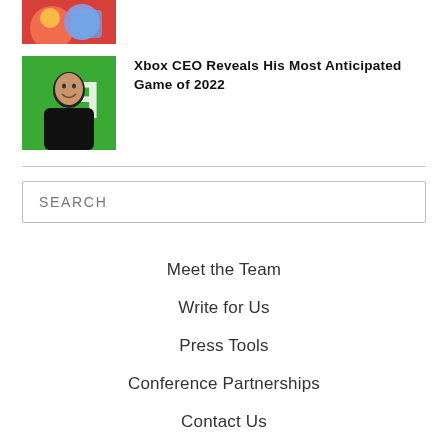[Figure (illustration): Thumbnail image of a colorful animated character, partially visible at top]
[Figure (photo): Photo of a smiling man in front of a green Xbox logo backdrop]
Xbox CEO Reveals His Most Anticipated Game of 2022
SEARCH
Meet the Team
Write for Us
Press Tools
Conference Partnerships
Contact Us